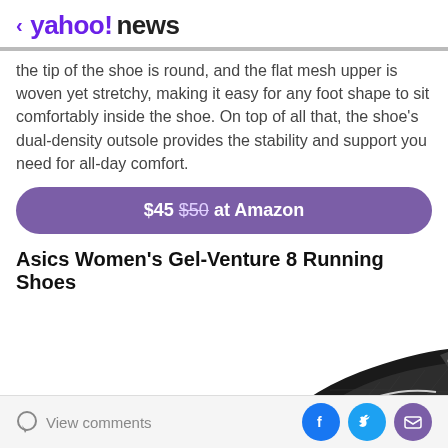< yahoo!news
the tip of the shoe is round, and the flat mesh upper is woven yet stretchy, making it easy for any foot shape to sit comfortably inside the shoe. On top of all that, the shoe's dual-density outsole provides the stability and support you need for all-day comfort.
$45 $50 at Amazon
Asics Women's Gel-Venture 8 Running Shoes
[Figure (photo): Black Asics Women's Gel-Venture 8 Running Shoe photographed from the side/top angle, showing mesh upper, laces, and sole detail]
View comments | Facebook | Twitter | Email